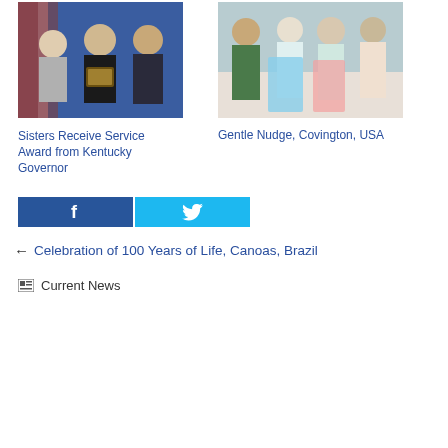[Figure (photo): Two women and a man in formal setting, one receiving a plaque award in front of a blue backdrop with flags]
Notre Dame
Sisters Receive Service Award from Kentucky Governor
[Figure (photo): Group of elderly people holding colorful apron-like garments in a room]
A
Gentle Nudge, Covington, USA
[Figure (infographic): Facebook and Twitter share buttons]
← Celebration of 100 Years of Life, Canoas, Brazil
Current News